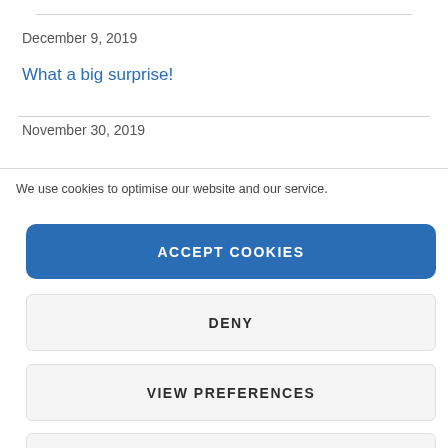December 9, 2019
What a big surprise!
November 30, 2019
We use cookies to optimise our website and our service.
ACCEPT COOKIES
DENY
VIEW PREFERENCES
SAVE PREFERENCES